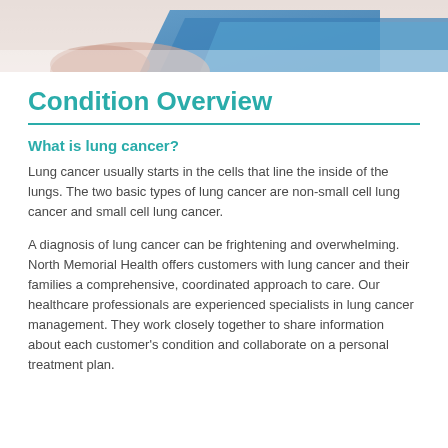[Figure (photo): Top banner photo showing hands holding a blue folder or document, with a pink/light background, partially cropped at top of page.]
Condition Overview
What is lung cancer?
Lung cancer usually starts in the cells that line the inside of the lungs. The two basic types of lung cancer are non-small cell lung cancer and small cell lung cancer.
A diagnosis of lung cancer can be frightening and overwhelming. North Memorial Health offers customers with lung cancer and their families a comprehensive, coordinated approach to care. Our healthcare professionals are experienced specialists in lung cancer management. They work closely together to share information about each customer's condition and collaborate on a personal treatment plan.